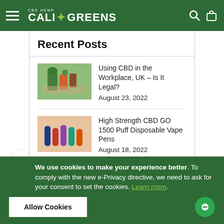CBD HEMP CALI GREENS
Recent Posts
Using CBD in the Workplace, UK – Is It Legal?
August 23, 2022
High Strength CBD GO 1500 Puff Disposable Vape Pens
August 18, 2022
How to Create Your Perfect Skincare Routine
August 16, 2022
How Long Does It Take CBD to Work for...
We use cookies to make your experience better. To comply with the new e-Privacy directive, we need to ask for your consent to set the cookies. Learn more.